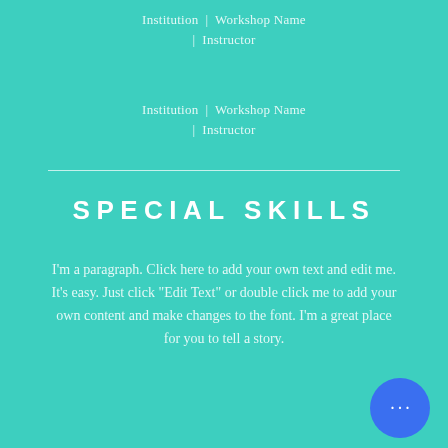Institution | Workshop Name | Instructor
Institution | Workshop Name | Instructor
SPECIAL SKILLS
I'm a paragraph. Click here to add your own text and edit me. It's easy. Just click “Edit Text” or double click me to add your own content and make changes to the font. I’m a great place for you to tell a story.